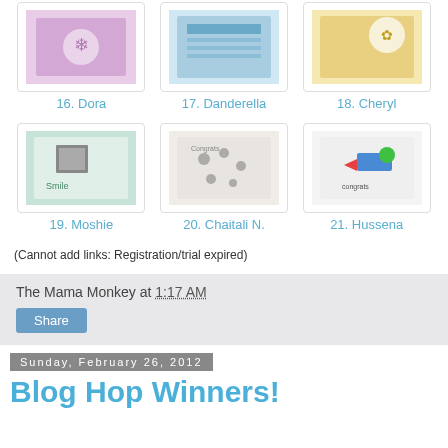[Figure (photo): Thumbnail image 16 - pink crafting card with snowflake]
16. Dora
[Figure (photo): Thumbnail image 17 - blue greeting card]
17. Danderella
[Figure (photo): Thumbnail image 18 - yellow card with rosette]
18. Cheryl
[Figure (photo): Thumbnail image 19 - scrapbook page with baby photo]
19. Moshie
[Figure (photo): Thumbnail image 20 - Congrats card with floral stamps]
20. Chaitali N.
[Figure (photo): Thumbnail image 21 - Congrats card with airplane]
21. Hussena
(Cannot add links: Registration/trial expired)
The Mama Monkey at 1:17 AM
Share
Sunday, February 26, 2012
Blog Hop Winners!